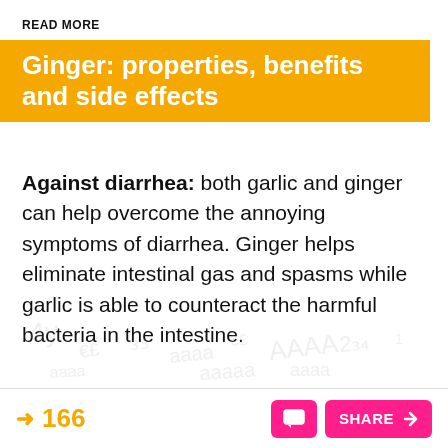READ MORE
Ginger: properties, benefits and side effects
Against diarrhea: both garlic and ginger can help overcome the annoying symptoms of diarrhea. Ginger helps eliminate intestinal gas and spasms while garlic is able to counteract the harmful bacteria in the intestine.
166  SHARE